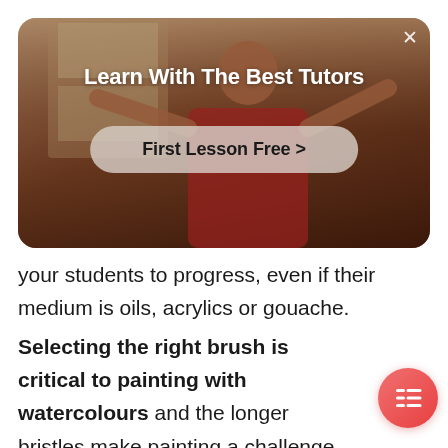[Figure (photo): Banner advertisement showing a person (wearing red) painting or drawing, with warm brown/amber tones. Contains a title 'Learn With The Best Tutors' and a 'First Lesson Free >' button. A close (X) button is in the top-right corner.]
your students to progress, even if their medium is oils, acrylics or gouache.
Selecting the right brush is critical to painting with watercolours and the longer bristles make painting a challenge. Student painters could learn brush control, selection and maintenance from you as well as mixing colours.